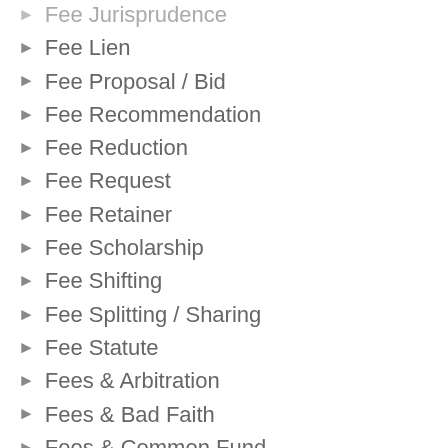Fee Jurisprudence
Fee Lien
Fee Proposal / Bid
Fee Recommendation
Fee Reduction
Fee Request
Fee Retainer
Fee Scholarship
Fee Shifting
Fee Splitting / Sharing
Fee Statute
Fees & Arbitration
Fees & Bad Faith
Fees & Common Fund
Fees & Corp. Bylaws
Fees & Duty to Defend
Fees & Fiduciary Duty